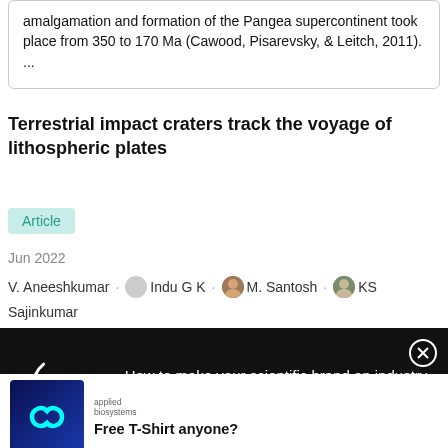amalgamation and formation of the Pangea supercontinent took place from 350 to 170 Ma (Cawood, Pisarevsky, & Leitch, 2011). ...
Terrestrial impact craters track the voyage of lithospheric plates
Article
Jun 2022
V. Aneeshkumar · Indu G K · M. Santosh · KS Sajinkumar
How to make your scientific brand an industry name with always-on marketing
Free T-Shirt anyone?